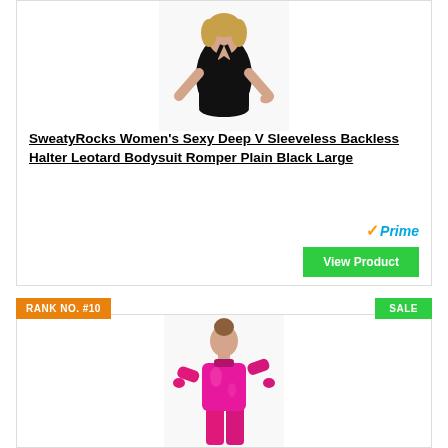[Figure (photo): Woman wearing a black deep V sleeveless backless halter leotard bodysuit, shown from waist up]
SweatyRocks Women's Sexy Deep V Sleeveless Backless Halter Leotard Bodysuit Romper Plain Black Large
[Figure (logo): Amazon Prime checkmark logo with orange checkmark and blue 'Prime' text]
View Product
RANK NO. #10
SALE
[Figure (photo): Child or young person wearing a shiny metallic pink full-body long-sleeve gymnastics leotard/catsuit]